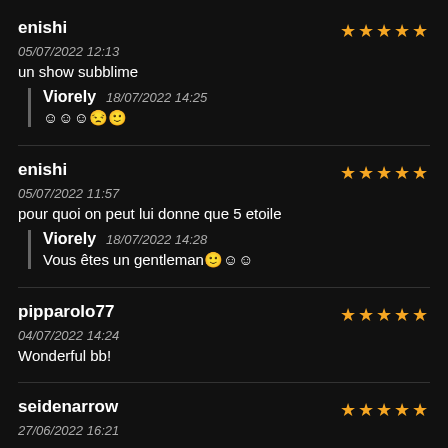enishi | ★★★★★
05/07/2022 12:13
un show subblime
Viorely 18/07/2022 14:25
☺☺☺😒🙂
enishi | ★★★★★
05/07/2022 11:57
pour quoi on peut lui donne que 5 etoile
Viorely 18/07/2022 14:28
Vous êtes un gentleman🙂☺☺
pipparolo77 | ★★★★★
04/07/2022 14:24
Wonderful bb!
seidenarrow | ★★★★★
27/06/2022 16:21